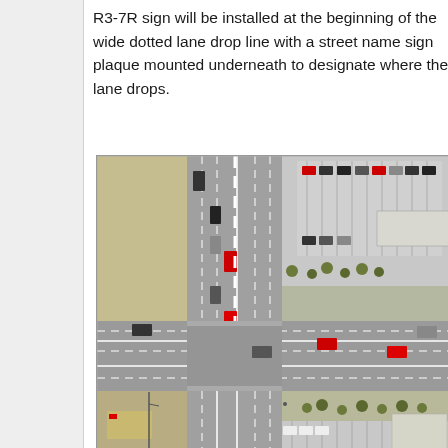R3-7R sign will be installed at the beginning of the wide dotted lane drop line with a street name sign plaque mounted underneath to designate where the lane drops.
[Figure (photo): Aerial photograph showing a road intersection with multiple lanes, lane markings, vehicles, parking lots, and surrounding commercial area with trees. The image shows a wide multi-lane road with lane drop markings visible.]